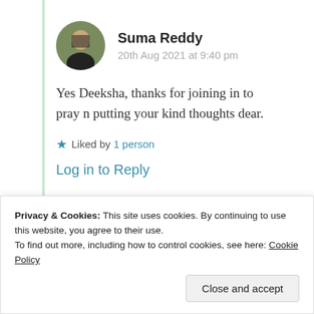Suma Reddy
20th Aug 2021 at 9:40 pm
Yes Deeksha, thanks for joining in to pray n putting your kind thoughts dear.
Liked by 1 person
Log in to Reply
Advertisements
Privacy & Cookies: This site uses cookies. By continuing to use this website, you agree to their use.
To find out more, including how to control cookies, see here: Cookie Policy
Close and accept